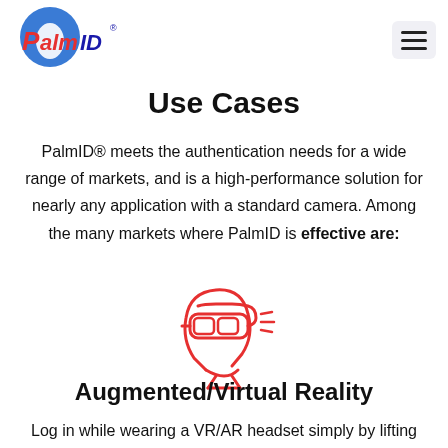[Figure (logo): PalmID logo with blue circle and red/blue text]
Use Cases
PalmID® meets the authentication needs for a wide range of markets, and is a high-performance solution for nearly any application with a standard camera. Among the many markets where PalmID is effective are:
[Figure (illustration): Red outline icon of a person's head wearing a VR/AR headset with motion lines indicating activity]
Augmented/Virtual Reality
Log in while wearing a VR/AR headset simply by lifting